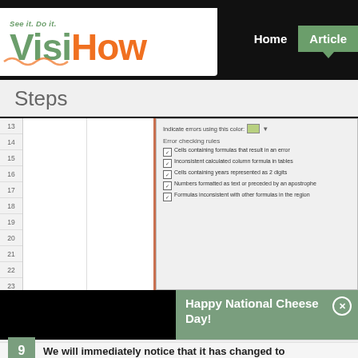[Figure (screenshot): VisiHow website header with logo showing 'Visi' in green and 'How' in orange with tagline 'See it. Do it.', navigation with Home and Articles buttons]
Steps
[Figure (screenshot): Excel spreadsheet showing row numbers 13-24 on left side with columns, and an Excel error checking settings dialog on the right showing 'Indicate errors using this color' and checkboxes for error checking rules including 'Cells containing formulas that result in an error', 'Inconsistent calculated column formula in tables', 'Cells containing years represented as 2 digits', 'Numbers formatted as text or preceded by an apostrophe', 'Formulas inconsistent with other formulas in the region']
[Figure (screenshot): Black video player area on left, green notification popup on right saying 'Happy National Cheese Day!' with a close (X) button]
9  We will immediately notice that it has changed to